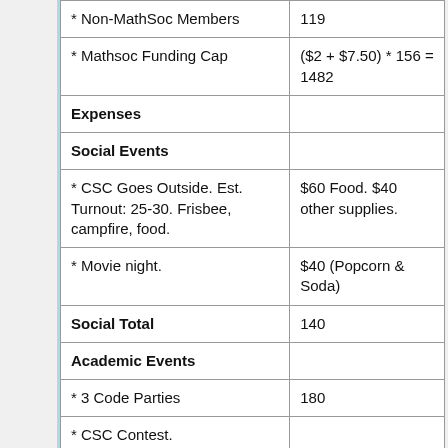| Item | Amount |
| --- | --- |
| * Non-MathSoc Members | 119 |
| * Mathsoc Funding Cap | ($2 + $7.50) * 156 = 1482 |
| Expenses |  |
| Social Events |  |
| * CSC Goes Outside. Est. Turnout: 25-30. Frisbee, campfire, food. | $60 Food. $40 other supplies. |
| * Movie night. | $40 (Popcorn & Soda) |
| Social Total | 140 |
| Academic Events |  |
| * 3 Code Parties | 180 |
| * CSC Contest. |  |